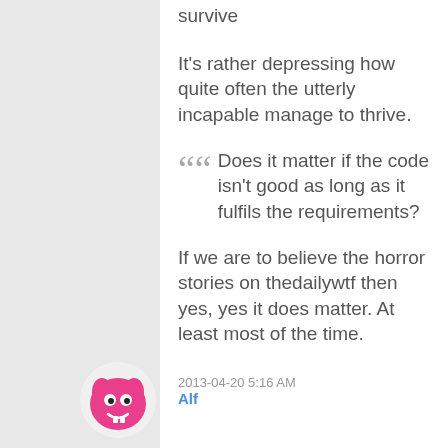survive
It's rather depressing how quite often the utterly incapable manage to thrive.
Does it matter if the code isn't good as long as it fulfils the requirements?
If we are to believe the horror stories on thedailywtf then yes, yes it does matter. At least most of the time.
2013-04-20 5:16 AM
Alf